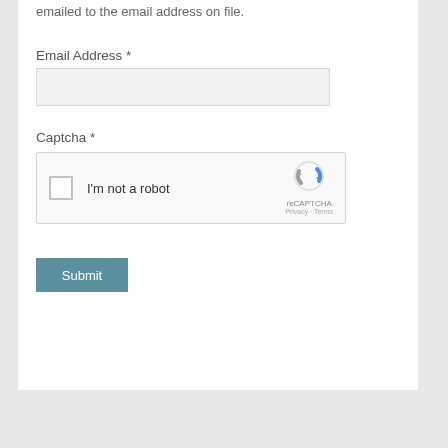emailed to the email address on file.
Email Address *
Captcha *
[Figure (other): reCAPTCHA widget with checkbox labeled 'I'm not a robot', reCAPTCHA logo, Privacy and Terms links]
Submit